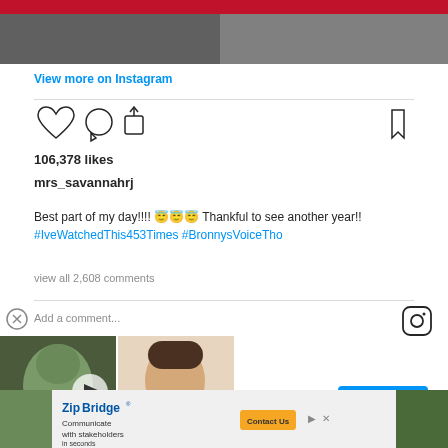[Figure (photo): Partial photo strip at top of Instagram post]
View more on Instagram
[Figure (infographic): Instagram action icons: heart, comment, share, bookmark]
106,378 likes
mrs_savannahrj
Best part of my day!!!! 😇😇😇 Thankful to see another year!! #IveWatchedThis453Times #BronnysVoiceTho
view all 2,608 comments
Add a comment...
[Figure (screenshot): WatchMojo video thumbnail showing two women (green-tinted and brunette), with play button and mojo logo]
View profile
[Figure (infographic): Advertisement: ZipBridge - Communicate with stakeholders in seconds. Contact Us button.]